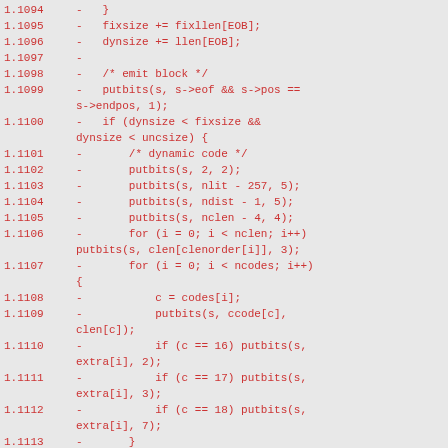Code diff showing lines 1.1094 through 1.1114 with removed lines (prefixed with -) containing C code for emitting deflate blocks with dynamic/fixed/uncompressed encoding logic
1.1094 -   }
1.1095 -   fixsize += fixllen[EOB];
1.1096 -   dynsize += llen[EOB];
1.1097 -
1.1098 -   /* emit block */
1.1099 -   putbits(s, s->eof && s->pos == s->endpos, 1);
1.1100 -   if (dynsize < fixsize && dynsize < uncsize) {
1.1101 -       /* dynamic code */
1.1102 -       putbits(s, 2, 2);
1.1103 -       putbits(s, nlit - 257, 5);
1.1104 -       putbits(s, ndist - 1, 5);
1.1105 -       putbits(s, nclen - 4, 4);
1.1106 -       for (i = 0; i < nclen; i++) putbits(s, clen[clenorder[i]], 3);
1.1107 -       for (i = 0; i < ncodes; i++) {
1.1108 -           c = codes[i];
1.1109 -           putbits(s, ccode[c], clen[c]);
1.1110 -           if (c == 16) putbits(s, extra[i], 2);
1.1111 -           if (c == 17) putbits(s, extra[i], 3);
1.1112 -           if (c == 18) putbits(s, extra[i], 7);
1.1113 -       }
1.1114 -       putblock(s, lcode, llen, dcode, dlen);